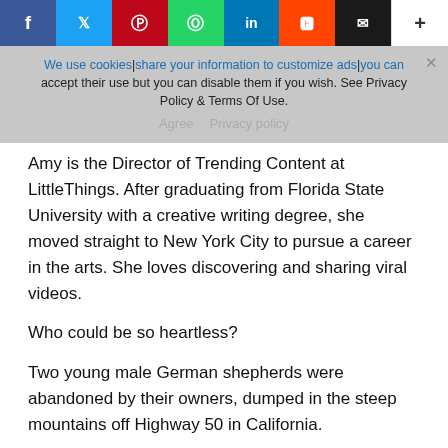[Figure (other): Social media share bar with Facebook, Twitter, Pinterest, WhatsApp, LinkedIn, Reddit, Email, and plus buttons]
We use cookies|share your information to customize ads|you can accept their use but you can disable them if you wish. See Privacy Policy & Terms Of Use.
Agree   Privacy policy
Amy is the Director of Trending Content at LittleThings. After graduating from Florida State University with a creative writing degree, she moved straight to New York City to pursue a career in the arts. She loves discovering and sharing viral videos.
Who could be so heartless?
Two young male German shepherds were abandoned by their owners, dumped in the steep mountains off Highway 50 in California.
Advertisement